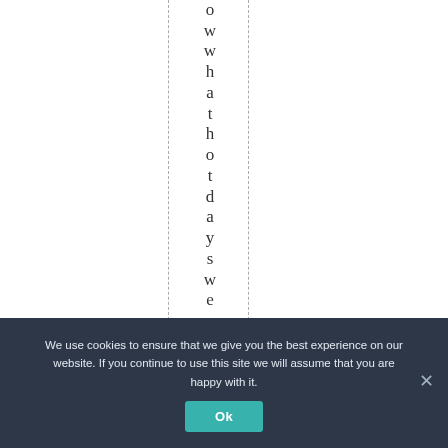o w w h a t h o t d a y s w e r e !
We use cookies to ensure that we give you the best experience on our website. If you continue to use this site we will assume that you are happy with it.
Ok